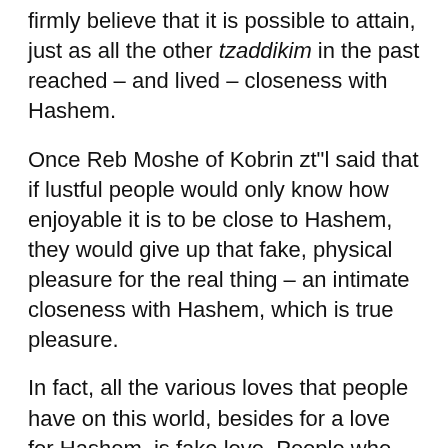firmly believe that it is possible to attain, just as all the other tzaddikim in the past reached – and lived – closeness with Hashem.
Once Reb Moshe of Kobrin zt"l said that if lustful people would only know how enjoyable it is to be close to Hashem, they would give up that fake, physical pleasure for the real thing – an intimate closeness with Hashem, which is true pleasure.
In fact, all the various loves that people have on this world, besides for a love for Hashem, is fake love. People who don't have a love for Hashem haven't tasted what true love is.[5]
This is the way Hashem made the world; as long as a person remains outside the world of closeness with Hashem, he will never attain it - not even a tiny